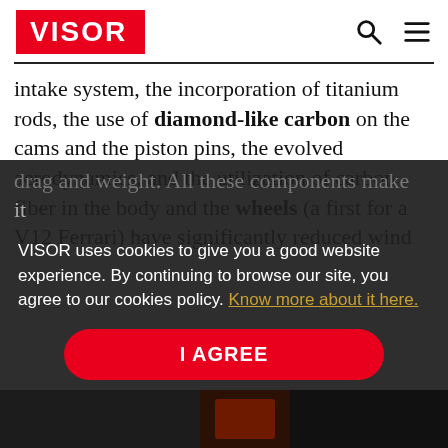VISOR
intake system, the incorporation of titanium rods, the use of diamond-like carbon on the cams and the piston pins, the evolved aerodynamics, and the utilization of carbon fiber in the body and the wheels (a first for a V12 Ferrari) have significantly reduced wind
drag and weight. All these components make [...]
VISOR uses cookies to give you a good website experience. By continuing to browse our site, you agree to our cookies policy. Know more about it here.
I AGREE